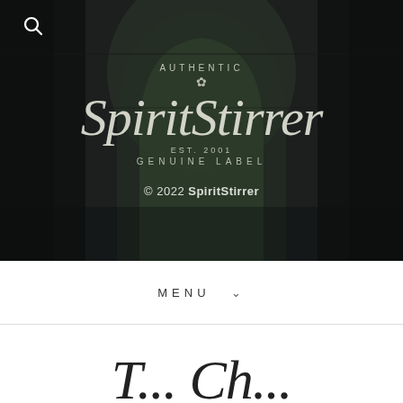[Figure (photo): Dark atmospheric photo of a Gothic stone archway/window with greenery visible through it, serving as the hero background for SpiritStirrer brand]
AUTHENTIC
SpiritStirrer
EST. 2001
GENUINE LABEL
© 2022 SpiritStirrer
MENU
T... Ch...